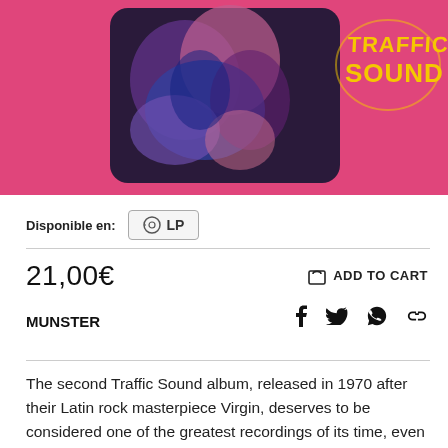[Figure (photo): Traffic Sound album cover on pink background with abstract colorful art and Traffic Sound logo in yellow text]
Disponible en: LP
21,00€
ADD TO CART
MUNSTER
The second Traffic Sound album, released in 1970 after their Latin rock masterpiece Virgin, deserves to be considered one of the greatest recordings of its time, even internationally, as essential as the most hailed works of Cream, Caravan or Led Zeppelin that served as a bridge